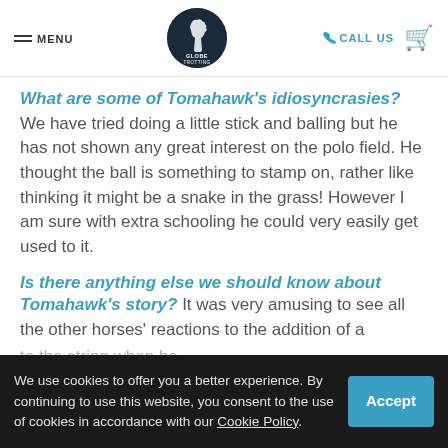MENU | Globe Trotting | CALL US
What are some of Tomahawk's idiosyncrasies?
We have tried doing a little stick and balling but he has not shown any great interest on the polo field. He thought the ball is something to stamp on, rather like thinking it might be a snake in the grass! However I am sure with extra schooling he could very easily get used to it.
Is there anything else we should know about Tomahawk's story?
It was very amusing to see all the other horses' reactions to the addition of a … to the string when he … a little with … due to his color … is a wonderful accepting mother.
We use cookies to offer you a better experience. By continuing to use this website, you consent to the use of cookies in accordance with our Cookie Policy.